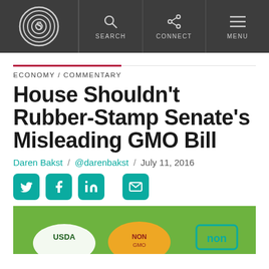S / SEARCH / CONNECT / MENU
ECONOMY / COMMENTARY
House Shouldn't Rubber-Stamp Senate's Misleading GMO Bill
Daren Bakst / @darenbakst / July 11, 2016
[Figure (photo): Close-up of food packaging labels including USDA Organic, Non-GMO Project Verified, and 'non' label on green background]